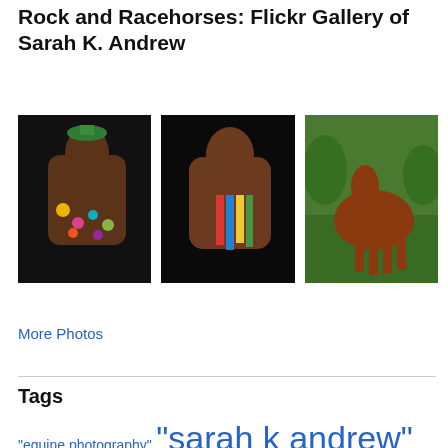Rock and Racehorses: Flickr Gallery of Sarah K. Andrew
[Figure (photo): Three thumbnail photos of horses from Sarah K. Andrew's Flickr gallery. Left: horse with Mardi Gras beads decoration on dark background. Center: horse with colorful ribbons on dark background. Right: chestnut horse standing in green outdoor setting.]
More Photos
Tags
"equine photography"  "sarah k andrew"  Alibar  arena  assunpink  barefoot  bit  blog  blogging  breeders' cup  camelot  canter  clicker training  cross rail  dengie  dressage  english  equestrian  equine  equine photographer  green  health  horse